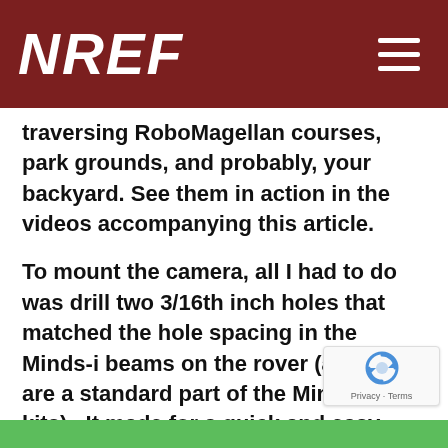NREF
traversing RoboMagellan courses, park grounds, and probably, your backyard. See them in action in the videos accompanying this article.
To mount the camera, all I had to do was drill two 3/16th inch holes that matched the hole spacing in the Minds-i beams on the rover (and that are a standard part of the Minds-i kits).  It made for a quick and easy mount.
[Figure (logo): reCAPTCHA badge with Privacy - Terms text]